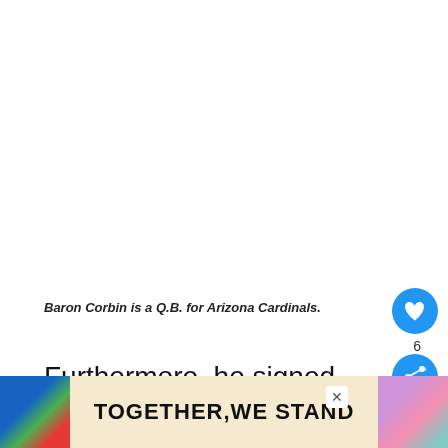Baron Corbin is a Q.B. for Arizona Cardinals.
Furthermore, he signed a second contract with the Cardinals on January 4, 2011. However, he was re[leased on January 4, 2011.]
[Figure (infographic): Advertisement banner reading TOGETHER,WE STAND with colorful abstract shapes on left and right sides, and a close button]